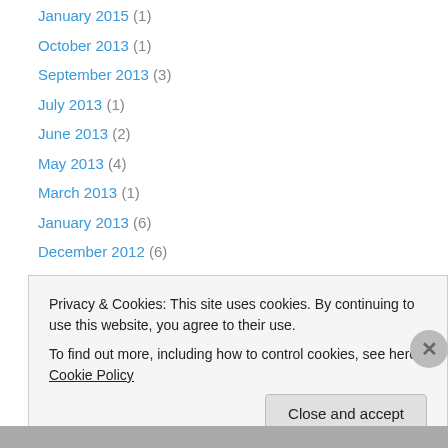January 2015 (1)
October 2013 (1)
September 2013 (3)
July 2013 (1)
June 2013 (2)
May 2013 (4)
March 2013 (1)
January 2013 (6)
December 2012 (6)
November 2012 (10)
October 2012 (30)
September 2012 (2)
July 2012 (15)
Privacy & Cookies: This site uses cookies. By continuing to use this website, you agree to their use. To find out more, including how to control cookies, see here: Cookie Policy
Close and accept